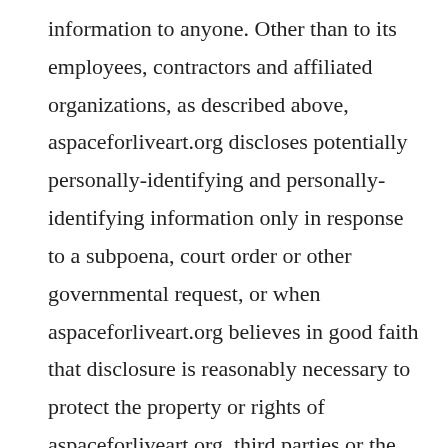information to anyone. Other than to its employees, contractors and affiliated organizations, as described above, aspaceforliveart.org discloses potentially personally-identifying and personally-identifying information only in response to a subpoena, court order or other governmental request, or when aspaceforliveart.org believes in good faith that disclosure is reasonably necessary to protect the property or rights of aspaceforliveart.org, third parties or the public at large. If you are a registered user of an aspaceforliveart.org website and have supplied your email address, aspaceforliveart.org may occasionally send you an email to tell you about new features, solicit your feedback, or just keep you up to date with what's going on with aspaceforliveart.org and our products. If you send us a request (for example via email or via one of our feedback mechanisms), we reserve the right to publish it in order to